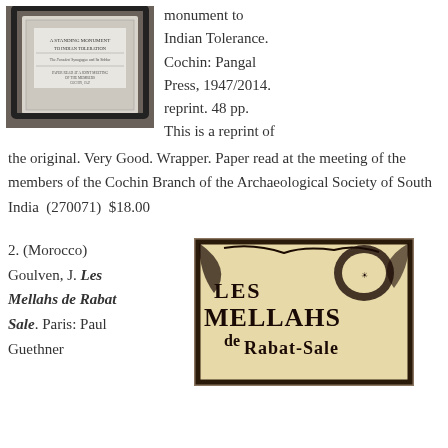[Figure (photo): Photo of a book titled 'A Standing Monument to Indian Tolerance' showing its cover page]
monument to Indian Tolerance. Cochin: Pangal Press, 1947/2014. reprint. 48 pp. This is a reprint of the original. Very Good. Wrapper. Paper read at the meeting of the members of the Cochin Branch of the Archaeological Society of South India  (270071)  $18.00
2. (Morocco) Goulven, J. Les Mellahs de Rabat Sale. Paris: Paul Guethner
[Figure (photo): Photo of the book cover 'Les Mellahs de Rabat-Sale' with illustrated title lettering]